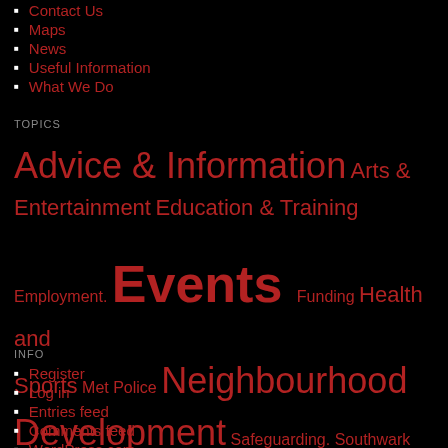Contact Us
Maps
News
Useful Information
What We Do
TOPICS
Advice & Information  Arts & Entertainment  Education & Training  Employment.  Events  Funding  Health and Sports  Met Police  Neighbourhood Development  Safeguarding.  Southwark Plan.  Tabard North  Uncategorized
INFO
Register
Log in
Entries feed
Comments feed
WordPress.com